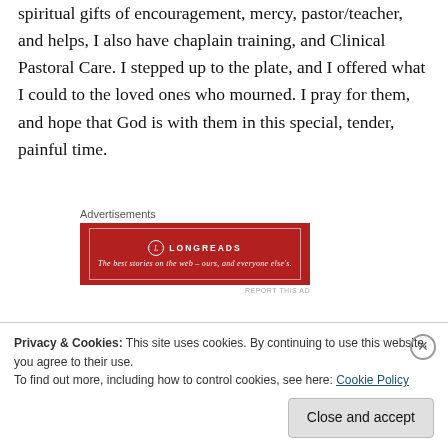spiritual gifts of encouragement, mercy, pastor/teacher, and helps, I also have chaplain training, and Clinical Pastoral Care. I stepped up to the plate, and I offered what I could to the loved ones who mourned. I pray for them, and hope that God is with them in this special, tender, painful time.
[Figure (other): Advertisement banner for Longreads. Red background with white border and text: 'LONGREADS' with tagline 'The best stories on the web — ours, and everyone else's.']
Yes. I cried today. Not only did I observe a family in the
Privacy & Cookies: This site uses cookies. By continuing to use this website, you agree to their use.
To find out more, including how to control cookies, see here: Cookie Policy